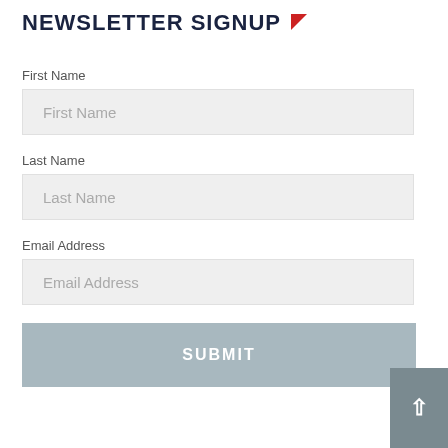NEWSLETTER SIGNUP
First Name
Last Name
Email Address
SUBMIT